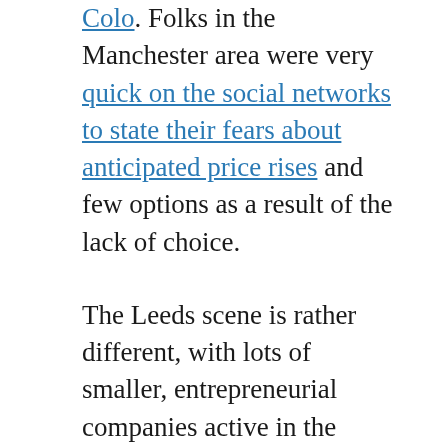Colo. Folks in the Manchester area were very quick on the social networks to state their fears about anticipated price rises and few options as a result of the lack of choice.
The Leeds scene is rather different, with lots of smaller, entrepreneurial companies active in the metro area. This is a double-edged sword, as while it results in competition in the co-lo market which folks like, it also meant that IXLeeds couldn’t be present everywhere the potential IX participants wanted to connect, certainly from day one. There’s a future aspiration to expand within the metro.
One of the early strengths in IXLeeds is that